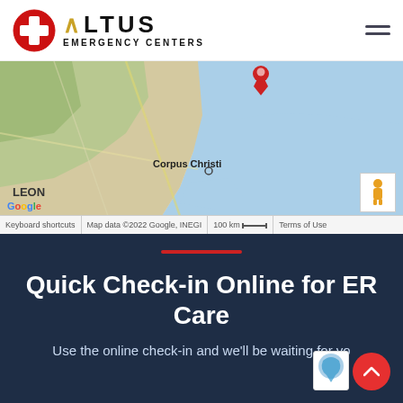[Figure (logo): Altus Emergency Centers logo with red cross circle icon and stylized text with gold caret symbol]
[Figure (map): Google Maps view showing Corpus Christi, Texas coastal area with a red location pin, Gulf of Mexico in blue, Tamaulipas/Leon region in green. Map attributions: Keyboard shortcuts, Map data ©2022 Google INEGI, 100 km scale, Terms of Use]
Quick Check-in Online for ER Care
Use the online check-in and we'll be waiting for you